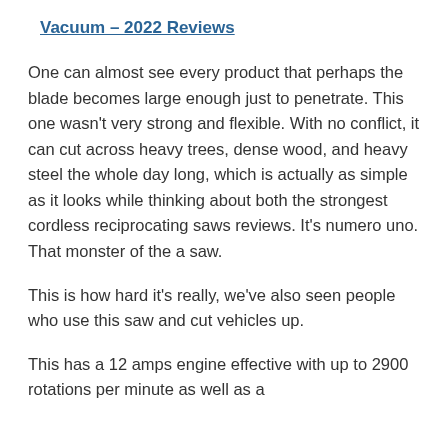Vacuum – 2022 Reviews
One can almost see every product that perhaps the blade becomes large enough just to penetrate. This one wasn't very strong and flexible. With no conflict, it can cut across heavy trees, dense wood, and heavy steel the whole day long, which is actually as simple as it looks while thinking about both the strongest cordless reciprocating saws reviews. It's numero uno. That monster of the a saw.
This is how hard it's really, we've also seen people who use this saw and cut vehicles up.
This has a 12 amps engine effective with up to 2900 rotations per minute as well as a